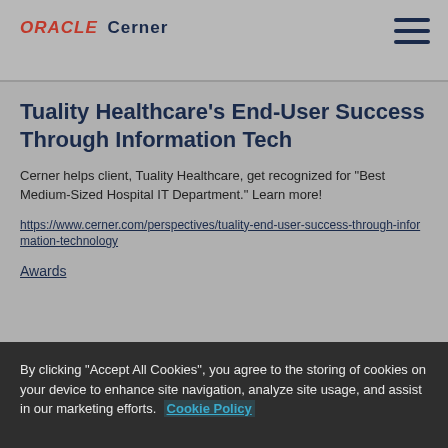ORACLE Cerner
Tuality Healthcare's End-User Success Through Information Tech
Cerner helps client, Tuality Healthcare, get recognized for "Best Medium-Sized Hospital IT Department." Learn more!
https://www.cerner.com/perspectives/tuality-end-user-success-through-information-technology
Awards
By clicking "Accept All Cookies", you agree to the storing of cookies on your device to enhance site navigation, analyze site usage, and assist in our marketing efforts.  Cookie Policy